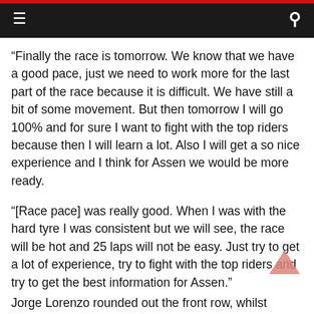≡  🔍
“Finally the race is tomorrow. We know that we have a good pace, just we need to work more for the last part of the race because it is difficult. We have still a bit of some movement. But then tomorrow I will go 100% and for sure I want to fight with the top riders because then I will learn a lot. Also I will get a so nice experience and I think for Assen we would be more ready.
“[Race pace] was really good. When I was with the hard tyre I was consistent but we will see, the race will be hot and 25 laps will not be easy. Just try to get a lot of experience, try to fight with the top riders and try to get the best information for Assen.”
Jorge Lorenzo rounded out the front row, whilst